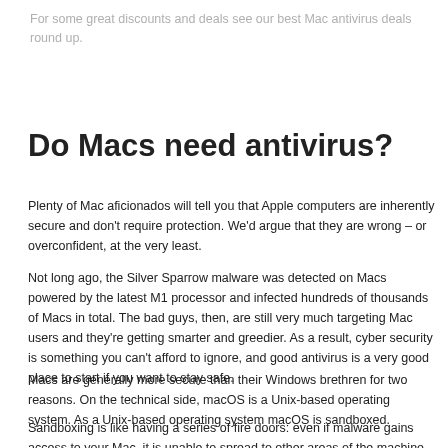For some great discounts and deals see our best Mac antivirus deals round up.
Do Macs need antivirus?
Plenty of Mac aficionados will tell you that Apple computers are inherently secure and don’t require protection. We’d argue that they are wrong – or overconfident, at the very least.
Not long ago, the Silver Sparrow malware was detected on Macs powered by the latest M1 processor and infected hundreds of thousands of Macs in total. The bad guys, then, are still very much targeting Mac users and they’re getting smarter and greedier. As a result, cyber security is something you can’t afford to ignore, and good antivirus is a very good place to start if you want to stay safe.
Macs are generally more secure than their Windows brethren for two reasons. On the technical side, macOS is a Unix-based operating system. As a Unix-based operating system macOS is sandboxed.
Sandboxing is like having a series of fire doors: even if malware gains access to your Mac, it is unable to spread to other areas of the machine